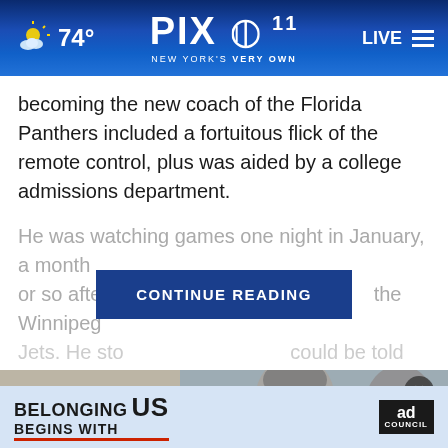PIX11 NEW YORK'S VERY OWN | LIVE | 74°
becoming the new coach of the Florida Panthers included a fortuitous flick of the remote control, plus was aided by a college admissions department.
He was watching games one night in January, a month or so after he s[...] the Winnipeg Jets. He stood [...]
CONTINUE READING
[Figure (photo): Two women photographed outdoors near a car, partially visible]
[Figure (advertisement): Ad Council: BELONGING BEGINS WITH US advertisement banner]